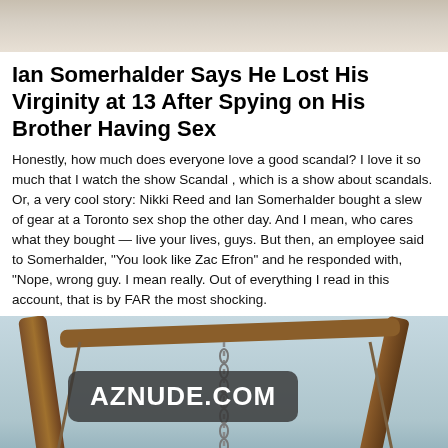[Figure (photo): Partial top image, appears to be a light-colored background photo cropped at the top of the page]
Ian Somerhalder Says He Lost His Virginity at 13 After Spying on His Brother Having Sex
Honestly, how much does everyone love a good scandal? I love it so much that I watch the show Scandal , which is a show about scandals. Or, a very cool story: Nikki Reed and Ian Somerhalder bought a slew of gear at a Toronto sex shop the other day. And I mean, who cares what they bought — live your lives, guys. But then, an employee said to Somerhalder, "You look like Zac Efron" and he responded with, "Nope, wrong guy. I mean really. Out of everything I read in this account, that is by FAR the most shocking.
[Figure (photo): Photo of wooden swing or structure with chains, against a light sky background. Watermark 'AZNUDE.COM' overlaid in dark rounded rectangle.]